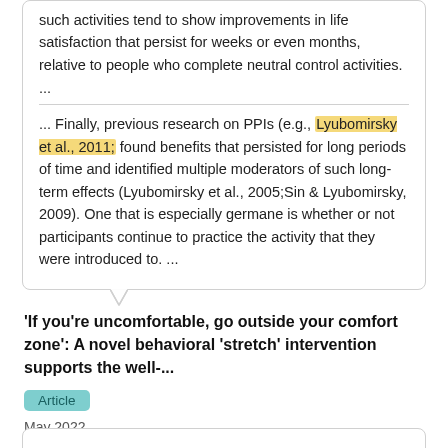such activities tend to show improvements in life satisfaction that persist for weeks or even months, relative to people who complete neutral control activities.
...
... Finally, previous research on PPIs (e.g., Lyubomirsky et al., 2011; found benefits that persisted for long periods of time and identified multiple moderators of such long-term effects (Lyubomirsky et al., 2005;Sin & Lyubomirsky, 2009). One that is especially germane is whether or not participants continue to practice the activity that they were introduced to. ...
'If you're uncomfortable, go outside your comfort zone': A novel behavioral 'stretch' intervention supports the well-...
Article
May 2022
Pninit Russo-Netzer · Geoffrey L. Cohen
View   Show abstract